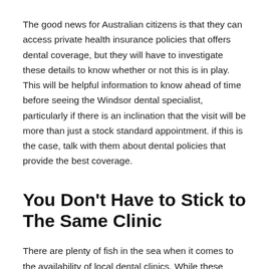The good news for Australian citizens is that they can access private health insurance policies that offers dental coverage, but they will have to investigate these details to know whether or not this is in play. This will be helpful information to know ahead of time before seeing the Windsor dental specialist, particularly if there is an inclination that the visit will be more than just a stock standard appointment. if this is the case, talk with them about dental policies that provide the best coverage.
You Don't Have to Stick to The Same Clinic
There are plenty of fish in the sea when it comes to the availability of local dental clinics. While these options will be limited for rural regions of the country, patients should be aware that if they are not to be satisfied with the service or their...